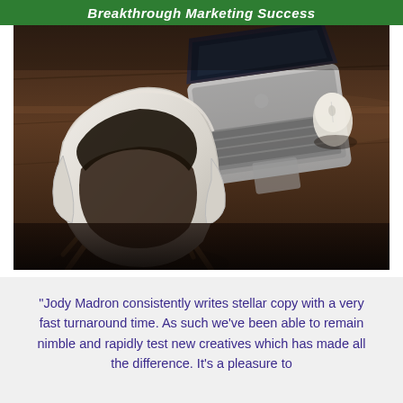Breakthrough Marketing Success
[Figure (photo): Overhead view of a modern workspace with a white laptop, white wireless mouse on a dark wooden desk, and a white modern chair in the foreground]
“Jody Madron consistently writes stellar copy with a very fast turnaround time. As such we've been able to remain nimble and rapidly test new creatives which has made all the difference. It’s a pleasure to